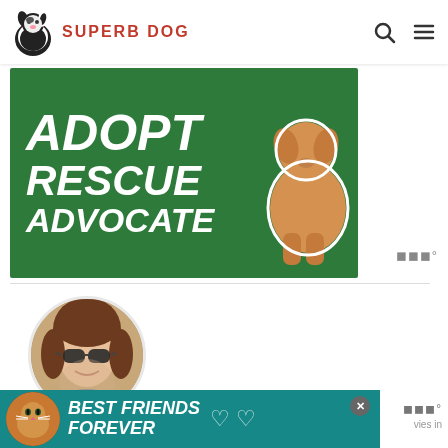SUPERB DOG
[Figure (photo): Green banner image with white bold italic text reading ADOPT, RESCUE, ADVOCATE with a golden dog illustration on the right side]
[Figure (photo): Circular profile photo of Chelsea Dickan, a young woman with brown hair wearing sunglasses, smiling]
Chelsea Dickan
Chelsea Dickan is a long-time advocate for animals,
[Figure (photo): Bottom advertisement banner with teal background showing a cat and text BEST FRIENDS FOREVER with heart decorations]